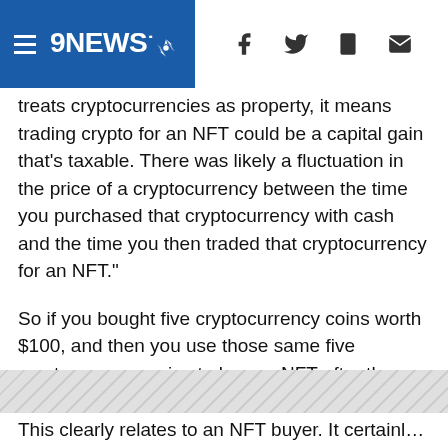9NEWS (logo with hamburger menu and social icons: Facebook, Twitter, mobile, email)
treats cryptocurrencies as property, it means trading crypto for an NFT could be a capital gain that's taxable. There was likely a fluctuation in the price of a cryptocurrency between the time you purchased that cryptocurrency with cash and the time you then traded that cryptocurrency for an NFT."
So if you bought five cryptocurrency coins worth $100, and then you use those same five cryptocurrency coins to buy an NFT after they had risen in value to $150, you'll be taxed for the $50 increase in value between the time you bought the coins and used them to buy an NFT.
[Figure (other): Advertisement placeholder area with diagonal hatching pattern]
This clearly relates to an NFT buyer. It certainly also relates to...